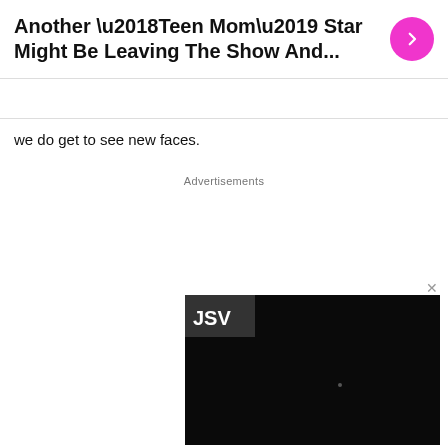Another ‘Teen Mom’ Star Might Be Leaving The Show And...
we do get to see new faces.
Advertisements
[Figure (screenshot): Video player showing a dark/black video frame with a 'JSV' label overlay in the upper-left corner and a close (x) button in the top-right.]